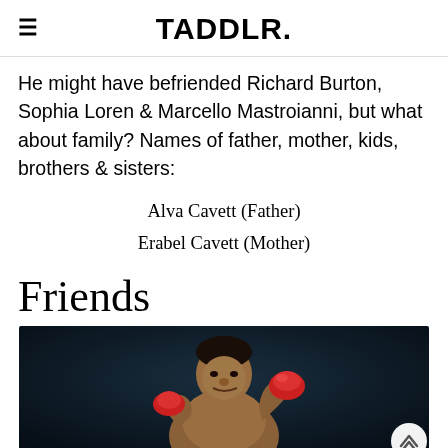TADDLR.
He might have befriended Richard Burton, Sophia Loren & Marcello Mastroianni, but what about family? Names of father, mother, kids, brothers & sisters:
Alva Cavett (Father)
Erabel Cavett (Mother)
Friends
[Figure (photo): A boxer (Muhammad Ali) shirtless with red boxing gloves, crouching in a fighting stance against a dark background.]